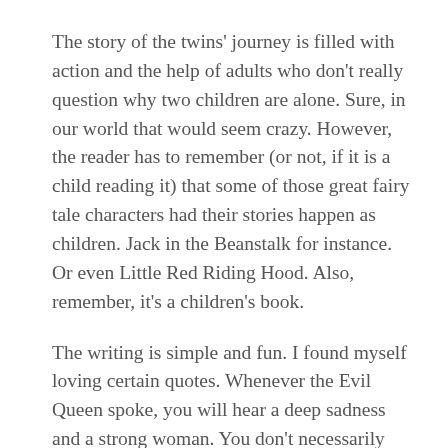The story of the twins' journey is filled with action and the help of adults who don't really question why two children are alone. Sure, in our world that would seem crazy. However, the reader has to remember (or not, if it is a child reading it) that some of those great fairy tale characters had their stories happen as children. Jack in the Beanstalk for instance. Or even Little Red Riding Hood. Also, remember, it's a children's book.
The writing is simple and fun. I found myself loving certain quotes. Whenever the Evil Queen spoke, you will hear a deep sadness and a strong woman. You don't necessarily hear evil. Granted, she isn't good by any stretch of the imagination, but you learn her story.
The fairy tale heroes seem to be a bit naive or neglectful of their responsibilities. However, they show their worth when